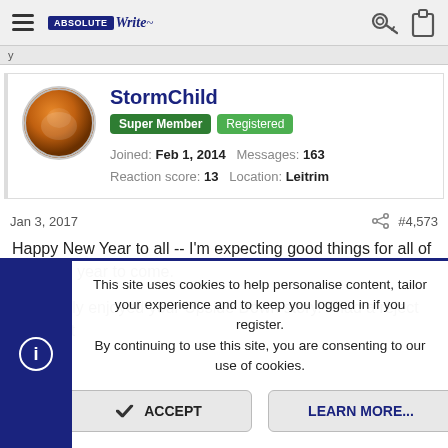AbsoluteWrite navbar with hamburger menu, logo, key icon, clipboard icon
StormChild
Super Member  Registered
Joined: Feb 1, 2014  Messages: 163  Reaction score: 13  Location: Leitrim
Jan 3, 2017  #4,573
Happy New Year to all -- I'm expecting good things for all of us in the year to come.
Ty, I really enjoyed your Upside Down story. I had a reject from that
This site uses cookies to help personalise content, tailor your experience and to keep you logged in if you register.
By continuing to use this site, you are consenting to our use of cookies.
ACCEPT  LEARN MORE...